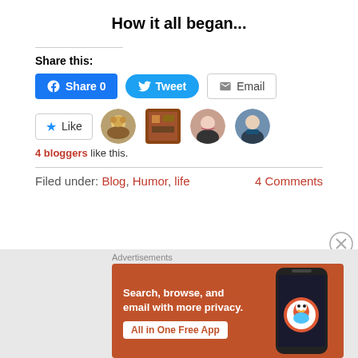How it all began...
Share this:
[Figure (screenshot): Social share buttons: Facebook Share 0, Tweet, Email]
[Figure (screenshot): Like button with star and 4 blogger avatar thumbnails]
4 bloggers like this.
Filed under: Blog, Humor, life    4 Comments
[Figure (screenshot): DuckDuckGo advertisement banner: Search, browse, and email with more privacy. All in One Free App.]